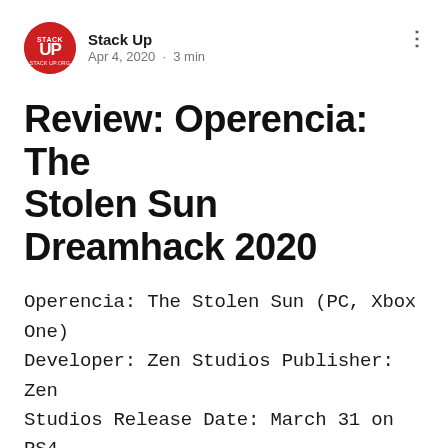Stack Up
Apr 4, 2020 · 3 min
Review: Operencia: The Stolen Sun Dreamhack 2020
Operencia: The Stolen Sun (PC, Xbox One) Developer: Zen Studios Publisher: Zen Studios Release Date: March 31 on PS4, Steam, GoG Nothing beats the nostalgic feeling of a classic dungeon crawler where players build up their team and gain experience to defeat tougher and tougher foes. I have been waiting for a game that lets me feel that sort of thrill again, and Operencia: The Stolen Sun delivered exactly that! Operencia: The Stolen Sun is a classic dungeon-crawling rpg set